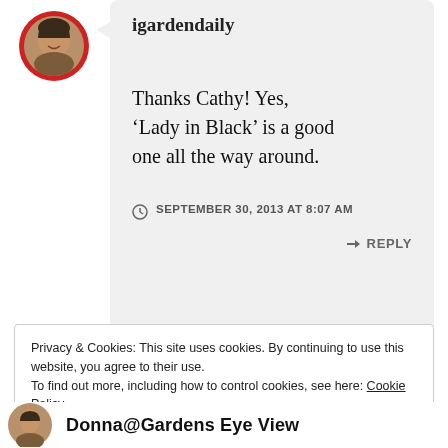[Figure (photo): Circular avatar photo of a woman with a red border, used as commenter profile picture for igardendaily]
igardendaily
Thanks Cathy! Yes, 'Lady in Black' is a good one all the way around.
SEPTEMBER 30, 2013 AT 8:07 AM
REPLY
Privacy & Cookies: This site uses cookies. By continuing to use this website, you agree to their use.
To find out more, including how to control cookies, see here: Cookie Policy
Close and accept
[Figure (photo): Partial circular avatar photo at the bottom of the page for another commenter]
Donna@Gardens Eye View